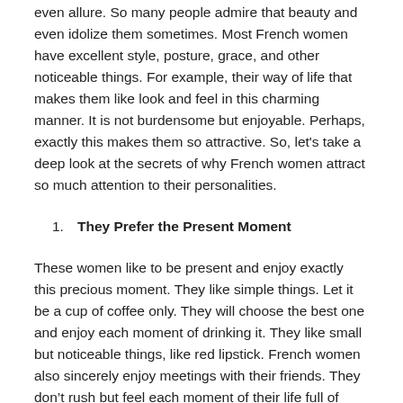even allure. So many people admire that beauty and even idolize them sometimes. Most French women have excellent style, posture, grace, and other noticeable things. For example, their way of life that makes them like look and feel in this charming manner. It is not burdensome but enjoyable. Perhaps, exactly this makes them so attractive. So, let's take a deep look at the secrets of why French women attract so much attention to their personalities.
They Prefer the Present Moment
These women like to be present and enjoy exactly this precious moment. They like simple things. Let it be a cup of coffee only. They will choose the best one and enjoy each moment of drinking it. They like small but noticeable things, like red lipstick. French women also sincerely enjoy meetings with their friends. They don't rush but feel each moment of their life full of things worthy to pay attention to. This makes them happier in less effort. Most of us will not likely notice